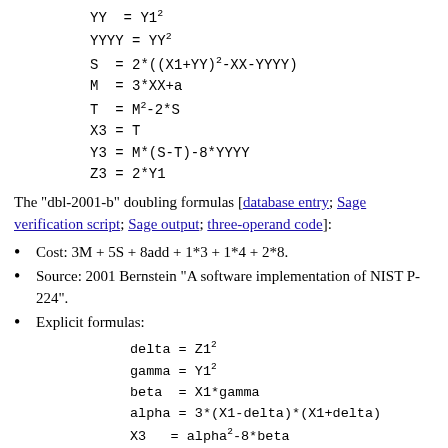The "dbl-2001-b" doubling formulas [database entry; Sage verification script; Sage output; three-operand code]:
Cost: 3M + 5S + 8add + 1*3 + 1*4 + 2*8.
Source: 2001 Bernstein "A software implementation of NIST P-224".
Explicit formulas: